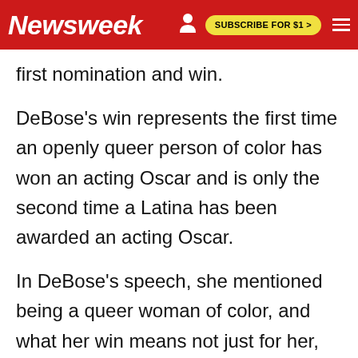Newsweek | SUBSCRIBE FOR $1 >
first nomination and win.
DeBose's win represents the first time an openly queer person of color has won an acting Oscar and is only the second time a Latina has been awarded an acting Oscar.
In DeBose's speech, she mentioned being a queer woman of color, and what her win means not just for her, but for people watching at home. "I promise you there is indeed a place for us," DeBose said, closing out her emotional